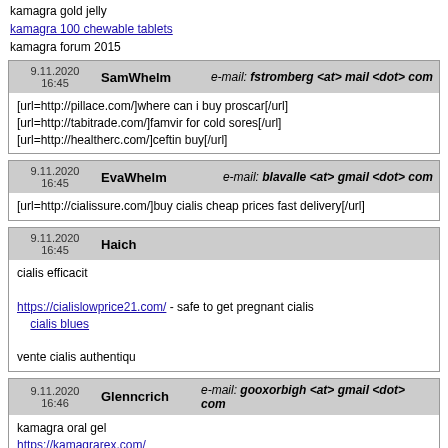kamagra gold jelly
kamagra 100 chewable tablets
kamagra forum 2015
| Date | Author | Email |
| --- | --- | --- |
| 9.11.2020 16:45 | SamWhelm | e-mail: fstromberg <at> mail <dot> com |
|  | [url=http://pillace.com/]where can i buy proscar[/url] [url=http://tabitrade.com/]famvir for cold sores[/url] [url=http://healtherc.com/]ceftin buy[/url] |  |
| Date | Author | Email |
| --- | --- | --- |
| 9.11.2020 16:45 | EvaWhelm | e-mail: blavalle <at> gmail <dot> com |
|  | [url=http://cialissure.com/]buy cialis cheap prices fast delivery[/url] |  |
| Date | Author |
| --- | --- |
| 9.11.2020 16:45 | Haich |
|  | cialis efficacit

https://cialislowprice21.com/ - safe to get pregnant cialis
    cialis blues

vente cialis authentiqu |
| Date | Author | Email |
| --- | --- | --- |
| 9.11.2020 16:46 | Glenncrich | e-mail: gooxorbigh <at> gmail <dot> com |
|  | kamagra oral gel
https://kamagrarex.com/
kamagra gold 100mg rendeles |  |
| Date | Author |
| --- | --- |
| 9.11.2020 16:46 | JaquavisHaich |
|  | only now cheap viagra uk

https://... |